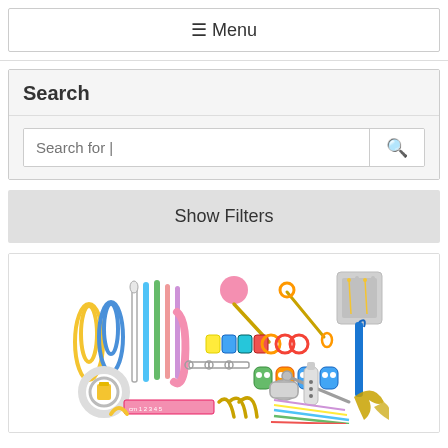☰ Menu
Search
Search for |
Show Filters
[Figure (photo): A collection of colorful craft and sewing supplies laid out on a white background, including large knitting needles, crochet hooks, safety pins, stitch markers, bobbins, a seam ripper, a thimble, pins, paper clips, quilling paper strips, and other notions.]